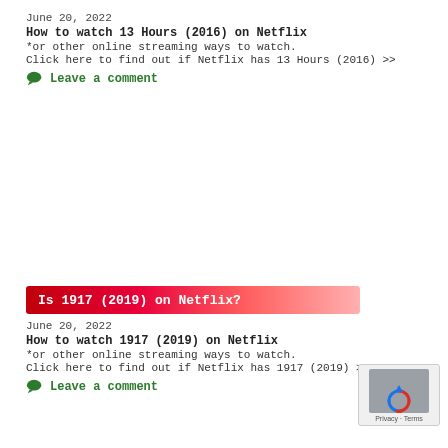June 20, 2022
How to watch 13 Hours (2016) on Netflix
*or other online streaming ways to watch.
Click here to find out if Netflix has 13 Hours (2016) >>
Leave a comment
Is 1917 (2019) on Netflix?
June 20, 2022
How to watch 1917 (2019) on Netflix
*or other online streaming ways to watch.
Click here to find out if Netflix has 1917 (2019) >>
Leave a comment
[Figure (logo): reCAPTCHA logo with Privacy and Terms text]